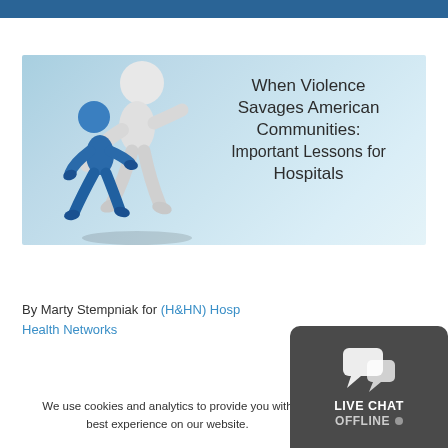[Figure (illustration): Promotional banner image with 3D rendered figures: a white humanoid figure carrying a blue humanoid figure. Text overlay reads: When Violence Savages American Communities: Important Lessons for Hospitals. Background is a light blue-teal gradient.]
By Marty Stempniak for (H&HN) Hospitals & Health Networks
We use cookies and analytics to provide you with the best experience on our website.
[Figure (other): Live Chat Offline widget — dark grey rounded rectangle with a speech bubble icon and text: LIVE CHAT OFFLINE]